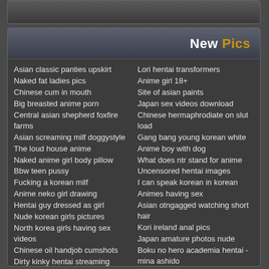[Figure (other): Top navigation bar, dark gradient]
New Pics
Asian classic panties upskirt
Naked fat ladies pics
Chinese cum in mouth
Big breasted anime porn
Central asian shepherd foxfire farms
Asian screaming milf doggystyle
The loud house anime
Naked anime girl body pillow
Bbw teen pussy
Fucking a korean milf
Anime neko girl drawing
Hentai guy dressed as girl
Nude korean girls pictures
North korea girls having sex videos
Chinese oil handjob cumshots
Dirty kinky hentai streaming
Chinese celebrity nude
Chinese girl fucked on train
Most famous asian pornstar
Cute anime girl gets fucked
Lori hentai transformers
Anime girl 18+
Site of asian paints
Japan sex videos download
Chinese hermaphrodiate on slut load
Gang bang young korean white
Anime boy with dog
What does ntr stand for anime
Uncensored hentai images
I can speak korean in korean
Animes having sex
Asian otngagged watching short hair
Kori ireland anal pics
Japan amature photos nude
Boku no hero academia hentai - mina ashido
Free asian fever porn
Asian japan nude beaches
Anime male red hair
Porn japan wife massage threesom